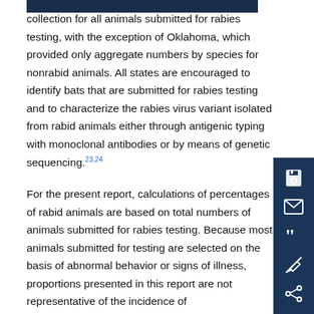collection for all animals submitted for rabies testing, with the exception of Oklahoma, which provided only aggregate numbers by species for nonrabid animals. All states are encouraged to identify bats that are submitted for rabies testing and to characterize the rabies virus variant isolated from rabid animals either through antigenic typing with monoclonal antibodies or by means of genetic sequencing.23,24
For the present report, calculations of percentages of rabid animals are based on total numbers of animals submitted for rabies testing. Because most animals submitted for testing are selected on the basis of abnormal behavior or signs of illness, proportions presented in this report are not representative of the incidence of